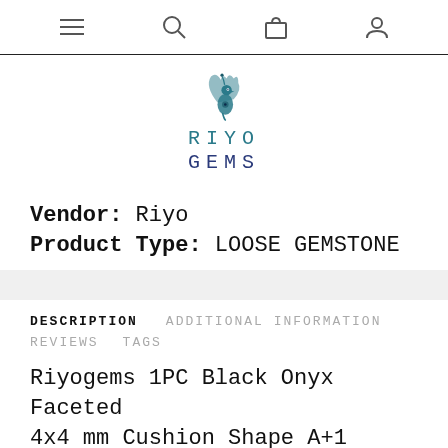Navigation bar with menu, search, cart, and account icons
[Figure (logo): Riyo Gems logo: teal peacock bird above text RIYO GEMS in teal/navy monospace letters]
Vendor:  Riyo
Product Type:  LOOSE GEMSTONE
DESCRIPTION   ADDITIONAL INFORMATION
REVIEWS   TAGS
Riyogems 1PC Black Onyx Faceted 4x4 mm Cushion Shape A+1 Quality